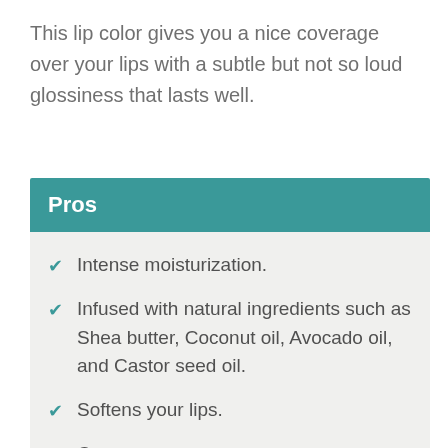This lip color gives you a nice coverage over your lips with a subtle but not so loud glossiness that lasts well.
Pros
Intense moisturization.
Infused with natural ingredients such as Shea butter, Coconut oil, Avocado oil, and Castor seed oil.
Softens your lips.
Creamy texture.